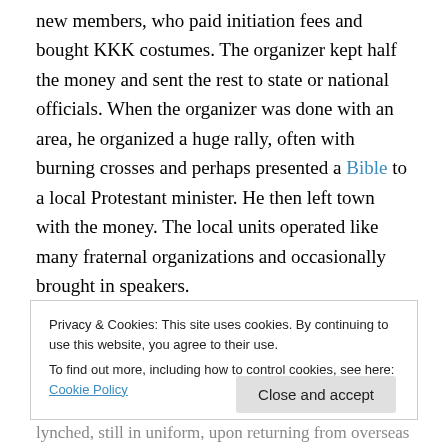new members, who paid initiation fees and bought KKK costumes. The organizer kept half the money and sent the rest to state or national officials. When the organizer was done with an area, he organized a huge rally, often with burning crosses and perhaps presented a Bible to a local Protestant minister. He then left town with the money. The local units operated like many fraternal organizations and occasionally brought in speakers.

The Klan's growth was also affected by mobilization for World War I and postwar tensions, especially in the
Privacy & Cookies: This site uses cookies. By continuing to use this website, you agree to their use.
To find out more, including how to control cookies, see here: Cookie Policy
Close and accept
lynched, still in uniform, upon returning from overseas